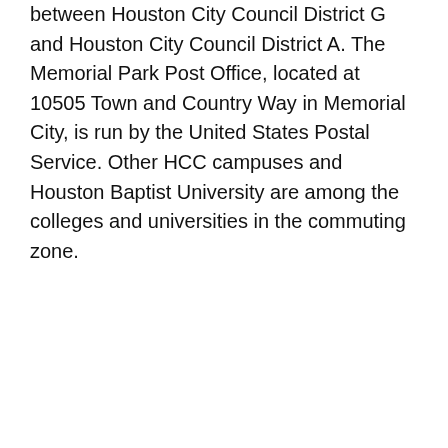between Houston City Council District G and Houston City Council District A. The Memorial Park Post Office, located at 10505 Town and Country Way in Memorial City, is run by the United States Postal Service. Other HCC campuses and Houston Baptist University are among the colleges and universities in the commuting zone.
Kingwood Houston
Abacus Plumbing, Air Conditioning & Electrical
[Figure (photo): Image placeholder area, appears blank/gray]